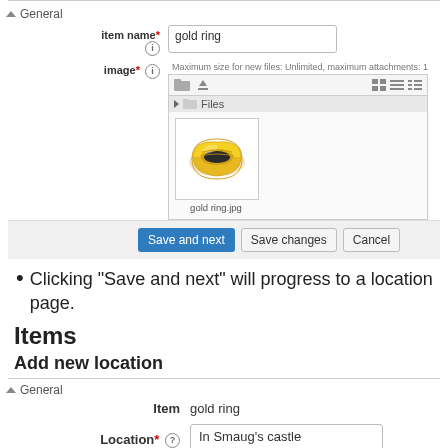General
[Figure (screenshot): Form fields for item name (text input with 'gold ring') and image upload area showing a gold ring thumbnail labeled 'gold ring.jpg', with file browser interface]
[Figure (screenshot): Action bar with 'Save and next' (blue button), 'Save changes', and 'Cancel' buttons]
Clicking "Save and next" will progress to a location page.
Items
Add new location
General
[Figure (screenshot): Form showing Item field with value 'gold ring' and Location field with text input containing 'In Smaug's castle']